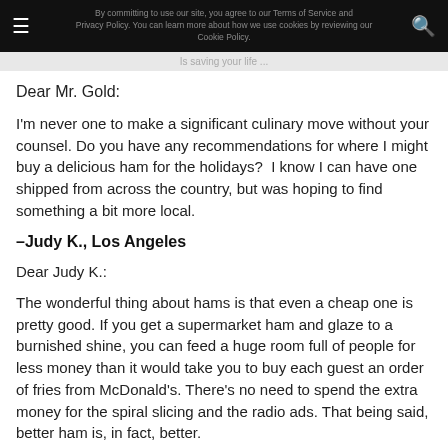By committing to use our site, you agree to our Terms of Service and Privacy Policy. You can learn more about how we use cookies by reviewing our Cookie Policy.
Dear Mr. Gold:
I'm never one to make a significant culinary move without your counsel. Do you have any recommendations for where I might buy a delicious ham for the holidays?  I know I can have one shipped from across the country, but was hoping to find something a bit more local.
–Judy K., Los Angeles
Dear Judy K.:
The wonderful thing about hams is that even a cheap one is pretty good. If you get a supermarket ham and glaze to a burnished shine, you can feed a huge room full of people for less money than it would take you to buy each guest an order of fries from McDonald's. There's no need to spend the extra money for the spiral slicing and the radio ads. That being said, better ham is, in fact, better.
My favorite tends to be American country ham, which is hand-